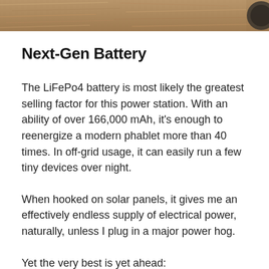[Figure (photo): Partial photo at top of page showing a textured brown/tan surface, likely a natural outdoor material like straw or bark, with a dark circular object partially visible at the right edge.]
Next-Gen Battery
The LiFePo4 battery is most likely the greatest selling factor for this power station. With an ability of over 166,000 mAh, it's enough to reenergize a modern phablet more than 40 times. In off-grid usage, it can easily run a few tiny devices over night.
When hooked on solar panels, it gives me an effectively endless supply of electrical power, naturally, unless I plug in a major power hog.
Yet the very best is yet ahead:
This battery has around 3500 recharge cycles